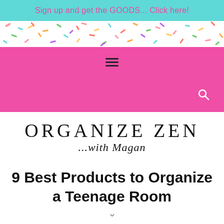Sign up and get the GOODS... Click here!
[Figure (illustration): Colorful sprinkles pattern strip on white background]
[Figure (illustration): Pink navigation bar with hamburger menu icon and search icon]
ORGANIZE ZEN ...with Magan
9 Best Products to Organize a Teenage Room